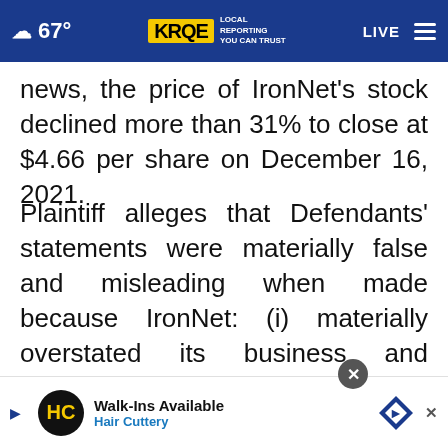☁ 67°  KRQE LOCAL REPORTING YOU CAN TRUST  LIVE
news, the price of IronNet's stock declined more than 31% to close at $4.66 per share on December 16, 2021.
Plaintiff alleges that Defendants' statements were materially false and misleading when made because IronNet: (i) materially overstated its business and financial prospects; (ii) was unable to predict the timing of significant customer opportunities which constituted a substantial misrepresentation; ... 2022 finan... ished